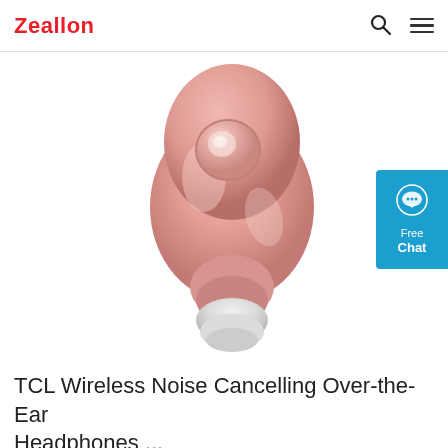Zeallon
[Figure (illustration): A pink wireless earbud (in-ear type) shown from above/front angle, with a round button on the body and a white silicone ear tip at the bottom. The earbud has a glossy rose/pink finish.]
TCL Wireless Noise Cancelling Over-the-Ear Headphones ...